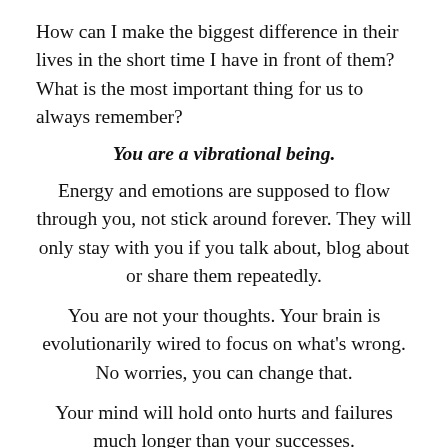How can I make the biggest difference in their lives in the short time I have in front of them? What is the most important thing for us to always remember?
You are a vibrational being.
Energy and emotions are supposed to flow through you, not stick around forever. They will only stay with you if you talk about, blog about or share them repeatedly.
You are not your thoughts. Your brain is evolutionarily wired to focus on what’s wrong. No worries, you can change that.
Your mind will hold onto hurts and failures much longer than your successes. You can change that, too. Cultivate an awareness of your thoughts and